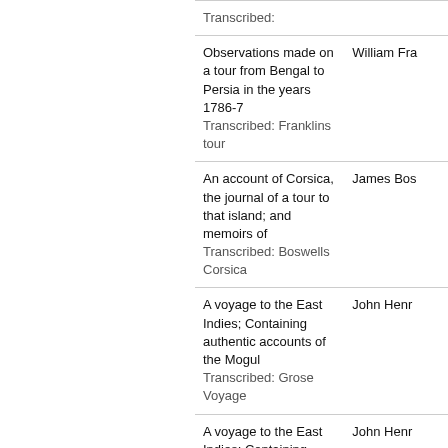| Title / Transcribed | Author |
| --- | --- |
| Transcribed: |  |
| Observations made on a tour from Bengal to Persia in the years 1786-7
Transcribed: Franklins tour | William Fra... |
| An account of Corsica, the journal of a tour to that island; and memoirs of
Transcribed: Boswells Corsica | James Bos... |
| A voyage to the East Indies; Containing authentic accounts of the Mogul
Transcribed: Grose Voyage | John Henr... |
| A voyage to the East Indies; Containing authentic accounts of the Mogul
Transcribed: " | John Henr... |
| The history of Hindostan / translated from Persian by Alexander Dow, Esq.
Transcribed: Dows Hindostan | Alexander... |
| Lavater
Transcribed: Lavater | Lavater |